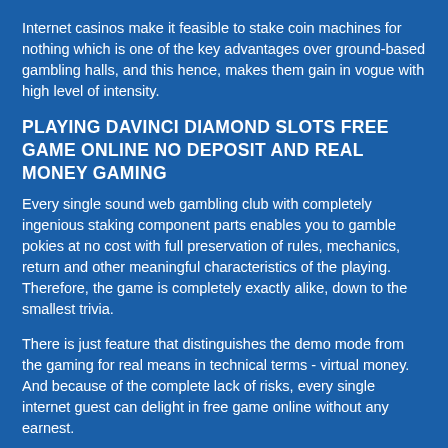Internet casinos make it feasible to stake coin machines for nothing which is one of the key advantages over ground-based gambling halls, and this hence, makes them gain in vogue with high level of intensity.
PLAYING DAVINCI DIAMOND SLOTS FREE GAME ONLINE NO DEPOSIT AND REAL MONEY GAMING
Every single sound web gambling club with completely ingenious staking component parts enables you to gamble pokies at no cost with full preservation of rules, mechanics, return and other meaningful characteristics of the playing. Therefore, the game is completely exactly alike, down to the smallest trivia.
There is just feature that distinguishes the demo mode from the gaming for real means in technical terms - virtual money. And because of the complete lack of risks, every single internet guest can delight in free game online without any earnest.
For these grounds, staking pokie machines for free is an ideal alternative for newbie advantageous players who are simply